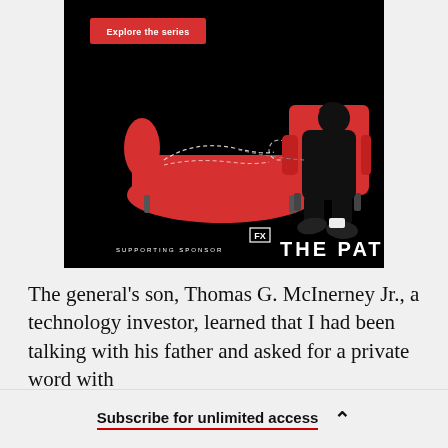[Figure (illustration): Advertisement for FX series 'The Patient'. Black background with red couch/chaise and red armchair. A figure sits in the armchair connected by a dashed line to an outline of a person lying on the couch. Red button says 'Explore the series'. Bottom shows 'SUPPORTING SPONSOR' and 'FX THE PATIENT' logo.]
The general's son, Thomas G. McInerney Jr., a technology investor, learned that I had been talking with his father and asked for a private word with
Subscribe for unlimited access